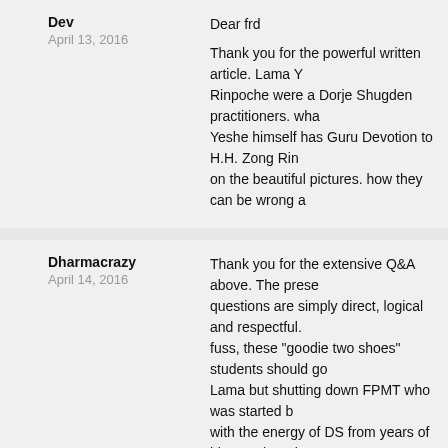Dev
April 13, 2016
Dear frd
Thank you for the powerful written article. Lama Y... Rinpoche were a Dorje Shugden practitioners. wha... Yeshe himself has Guru Devotion to H.H. Zong Rin... on the beautiful pictures. how they can be wrong a...
Reply
Dharmacrazy
April 14, 2016
Thank you for the extensive Q&A above. The prese... questions are simply direct, logical and respectful. ... fuss, these "goodie two shoes" students should go... Lama but shutting down FPMT who was started b... with the energy of DS from years of his practice wi... community.

These students who wish to please the Dalai Lama... scratch: completely untainted by anything related...

Why don't they do that? Perhaps because FPMT is... grace of Lama Yeshe, his lineage masters such as... RInpoche who are renowned DS practitioners and,... himself. So, these students who want to "own" su... center because it would be able to raise funds an...